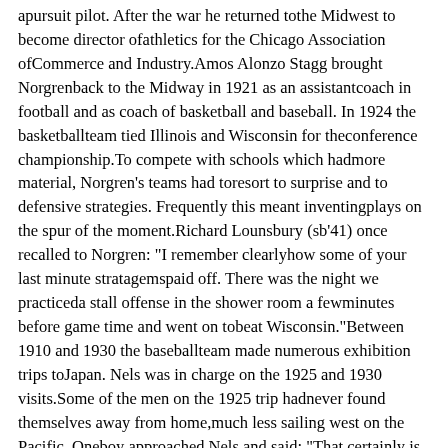apursuit pilot. After the war he returned tothe Midwest to become director ofathletics for the Chicago Association ofCommerce and Industry.Amos Alonzo Stagg brought Norgrenback to the Midway in 1921 as an assistantcoach in football and as coach of basketball and baseball. In 1924 the basketballteam tied Illinois and Wisconsin for theconference championship.To compete with schools which hadmore material, Norgren's teams had toresort to surprise and to defensive strategies. Frequently this meant inventingplays on the spur of the moment.Richard Lounsbury (sb'41) once recalled to Norgren: "I remember clearlyhow some of your last minute stratagemspaid off. There was the night we practiceda stall offense in the shower room a fewminutes before game time and went on tobeat Wisconsin."Between 1910 and 1930 the baseballteam made numerous exhibition trips toJapan. Nels was in charge on the 1925 and 1930 visits.Some of the men on the 1925 trip hadnever found themselves away from home,much less sailing west on the Pacific. Oneboy approached Nels and said: "That certainly is a lot of water." "Yes," repliedNorg, "And you're only seeing the top."On a later J apan jaunt, Roy Henshaw(x' 33) noticed that one of the nauticalmaps indicated that the ship was locatedin an area where the water was over10,000 feet deep. Henshaw apprehensively asked Nels: "Do ships sink hereoften?" Nels responded: "Only once,Roy. Only once."In 1942, crowding fifty, Norgren againvolunteered for service. Commissioned amajor in the Air Force, he spent fifteenmonths in England as group intelligence officer for the 379th Heavy Bombardment Group. At the